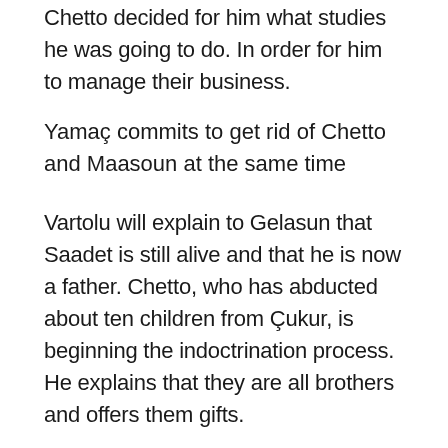Chetto decided for him what studies he was going to do. In order for him to manage their business.
Yamaç commits to get rid of Chetto and Maasoun at the same time
Vartolu will explain to Gelasun that Saadet is still alive and that he is now a father. Chetto, who has abducted about ten children from Çukur, is beginning the indoctrination process. He explains that they are all brothers and offers them gifts.
The Karakozolar kidnapped